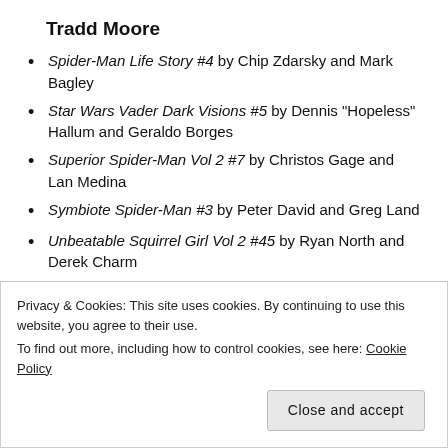Tradd Moore
Spider-Man Life Story #4 by Chip Zdarsky and Mark Bagley
Star Wars Vader Dark Visions #5 by Dennis "Hopeless" Hallum and Geraldo Borges
Superior Spider-Man Vol 2 #7 by Christos Gage and Lan Medina
Symbiote Spider-Man #3 by Peter David and Greg Land
Unbeatable Squirrel Girl Vol 2 #45 by Ryan North and Derek Charm
Privacy & Cookies: This site uses cookies. By continuing to use this website, you agree to their use.
To find out more, including how to control cookies, see here: Cookie Policy